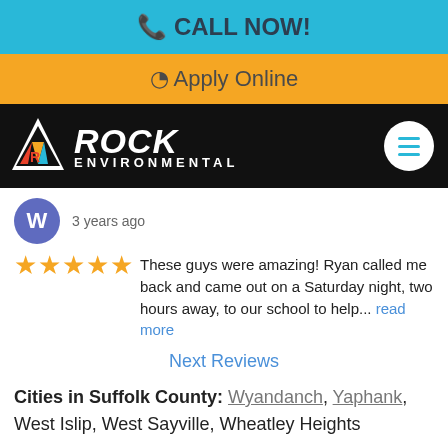📞 CALL NOW!
🔘 Apply Online
[Figure (logo): Rock Environmental logo with triangle icon on black navigation bar with hamburger menu button]
3 years ago
These guys were amazing! Ryan called me back and came out on a Saturday night, two hours away, to our school to help... read more
Next Reviews
Cities in Suffolk County: Wyandanch, Yaphank, West Islip, West Sayville, Wheatley Heights